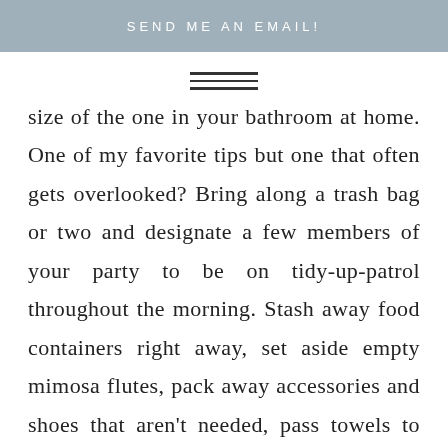SEND ME AN EMAIL!
[Figure (other): Hamburger menu icon with three horizontal lines]
size of the one in your bathroom at home. One of my favorite tips but one that often gets overlooked? Bring along a trash bag or two and designate a few members of your party to be on tidy-up-patrol throughout the morning. Stash away food containers right away, set aside empty mimosa flutes, pack away accessories and shoes that aren't needed, pass towels to the bathroom, you